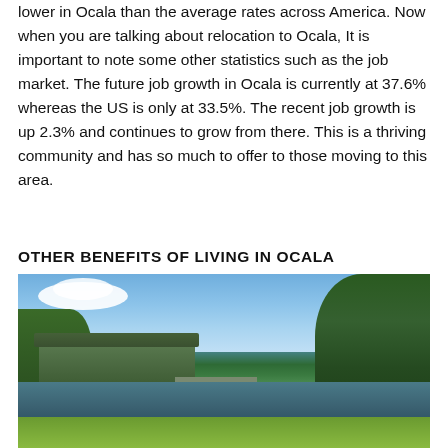lower in Ocala than the average rates across America. Now when you are talking about relocation to Ocala, It is important to note some other statistics such as the job market. The future job growth in Ocala is currently at 37.6% whereas the US is only at 33.5%. The recent job growth is up 2.3% and continues to grow from there. This is a thriving community and has so much to offer to those moving to this area.
OTHER BENEFITS OF LIVING IN OCALA
[Figure (photo): Outdoor photo of a waterfront scene in Ocala showing a lake or spring, a building with a green roof on the left, dense green trees on the right, and lush green vegetation in the foreground under a blue sky with clouds.]